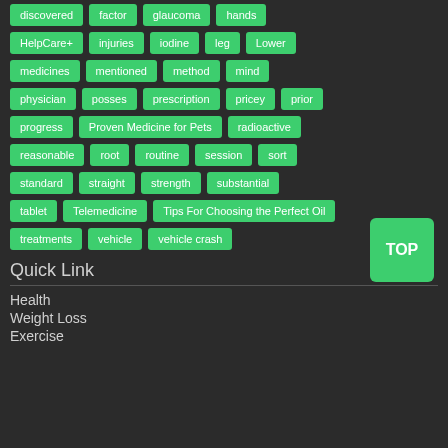discovered
factor
glaucoma
hands
HelpCare+
injuries
iodine
leg
Lower
medicines
mentioned
method
mind
physician
posses
prescription
pricey
prior
progress
Proven Medicine for Pets
radioactive
reasonable
root
routine
session
sort
standard
straight
strength
substantial
tablet
Telemedicine
Tips For Choosing the Perfect Oil
treatments
vehicle
vehicle crash
Quick Link
Health
Weight Loss
Exercise